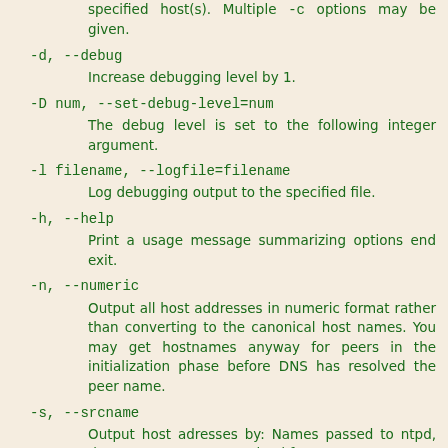specified host(s). Multiple -c options may be given.
-d, --debug
    Increase debugging level by 1.
-D num, --set-debug-level=num
    The debug level is set to the following integer argument.
-l filename, --logfile=filename
    Log debugging output to the specified file.
-h, --help
    Print a usage message summarizing options end exit.
-n, --numeric
    Output all host addresses in numeric format rather than converting to the canonical host names. You may get hostnames anyway for peers in the initialization phase before DNS has resolved the peer name.
-s, --srcname
    Output host adresses by: Names passed to ntpd, then names reverse resolved from